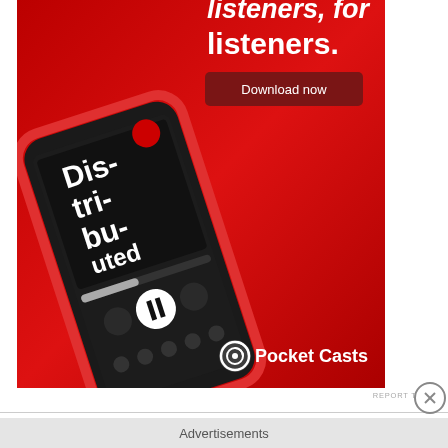[Figure (illustration): Pocket Casts advertisement with red background, showing a smartphone with podcast app interface, text 'listeners, for listeners.' and 'Download now' button, Pocket Casts logo at bottom right.]
REPORT THIS AD
Michael says:
01/02/2014 at 22:28

Are the upcoming FCA cars comes with NL plates or the I plates . like we see on the ads and magazins ??? Please answer
Advertisements